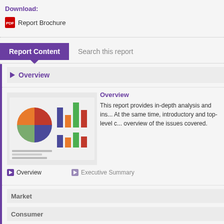Download:
Report Brochure
Report Content | Search this report
Overview
[Figure (photo): Charts and graphs report thumbnail image showing pie chart and bar charts]
Overview
This report provides in-depth analysis and ins... At the same time, introductory and top-level c... overview of the issues covered.
Overview
Executive Summary
Market
Consumer